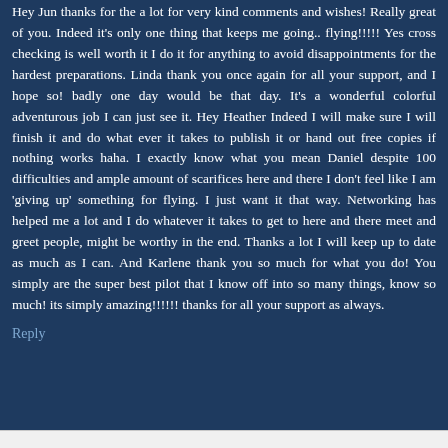Hey Jun thanks for the a lot for very kind comments and wishes! Really great of you. Indeed it's only one thing that keeps me going.. flying!!!!! Yes cross checking is well worth it I do it for anything to avoid disappointments for the hardest preparations. Linda thank you once again for all your support, and I hope so! badly one day would be that day. It's a wonderful colorful adventurous job I can just see it. Hey Heather Indeed I will make sure I will finish it and do what ever it takes to publish it or hand out free copies if nothing works haha. I exactly know what you mean Daniel despite 100 difficulties and ample amount of scarifices here and there I don't feel like I am 'giving up' something for flying. I just want it that way. Networking has helped me a lot and I do whatever it takes to get to here and there meet and greet people, might be worthy in the end. Thanks a lot I will keep up to date as much as I can. And Karlene thank you so much for what you do! You simply are the super best pilot that I know off into so many things, know so much! its simply amazing!!!!!! thanks for all your support as always.
Reply